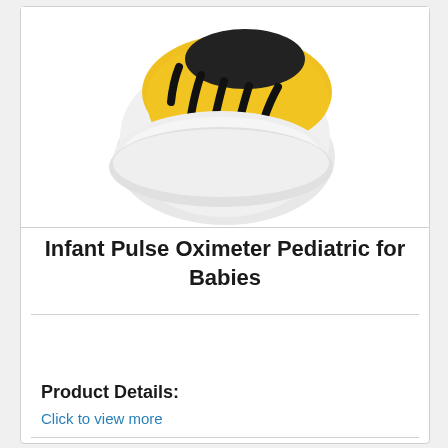[Figure (photo): Yellow and black pediatric pulse oximeter device, shown from above at an angle, with white base and black display/buttons on top. The device resembles a playful animal design suitable for children.]
Infant Pulse Oximeter Pediatric for Babies
Get a Price/Quote
Product Details:
Click to view more